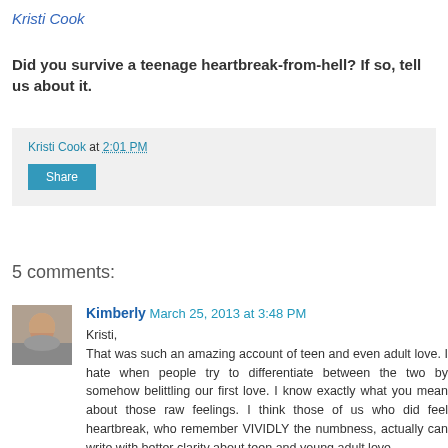Kristi Cook
Did you survive a teenage heartbreak-from-hell?  If so, tell us about it.
Kristi Cook at 2:01 PM
Share
5 comments:
Kimberly March 25, 2013 at 3:48 PM
Kristi,
That was such an amazing account of teen and even adult love. I hate when people try to differentiate between the two by somehow belittling our first love. I know exactly what you mean about those raw feelings. I think those of us who did feel heartbreak, who remember VIVIDLY the numbness, actually can write with better clarity about teen and young adult love.